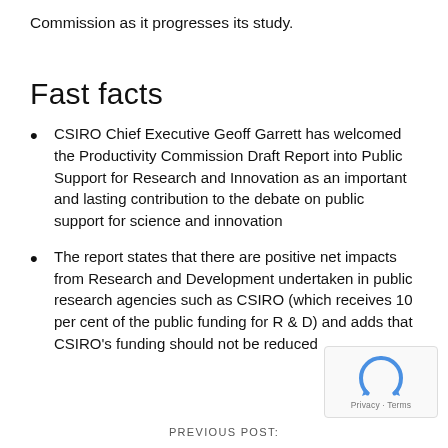Commission as it progresses its study.
Fast facts
CSIRO Chief Executive Geoff Garrett has welcomed the Productivity Commission Draft Report into Public Support for Research and Innovation as an important and lasting contribution to the debate on public support for science and innovation
The report states that there are positive net impacts from Research and Development undertaken in public research agencies such as CSIRO (which receives 10 per cent of the public funding for R & D) and adds that CSIRO's funding should not be reduced
PREVIOUS POST: